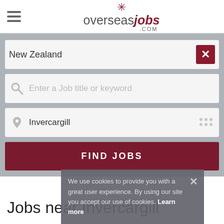[Figure (screenshot): OverseasJobs.com website header with logo showing a star/asterisk icon above the text 'overseasjobs.com' and a hamburger menu icon on the left]
New Zealand
Enter a Job title or keyword
Invercargill
FIND JOBS
We use cookies to provide you with a great user experience. By using our site you accept our use of cookies. Learn more
Jobs near Invercargill